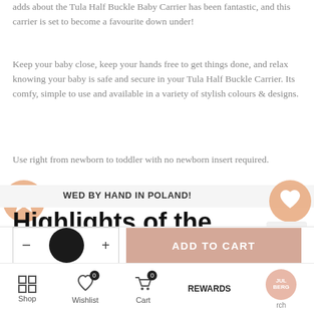adds about the Tula Half Buckle Baby Carrier has been fantastic, and this carrier is set to become a favourite down under!
Keep your baby close, keep your hands free to get things done, and relax knowing your baby is safe and secure in your Tula Half Buckle Carrier. Its comfy, simple to use and available in a variety of stylish colours & designs.
Use right from newborn to toddler with no newborn insert required.
SEWED BY HAND IN POLAND!
Highlights of the Tula Half Buckle Carrier:
ADD TO CART
Shop  Wishlist  Cart  REWARDS  Search